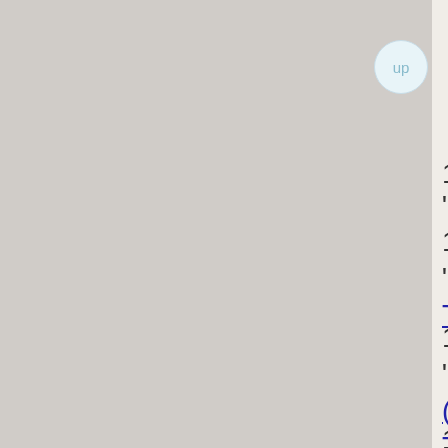14. “Scr…”
15. “Will… There”
16. “Sha… (To The …”
17. “The… About U…”
18. “Hea…”
19. “You… Alone”
20. “Hur…”